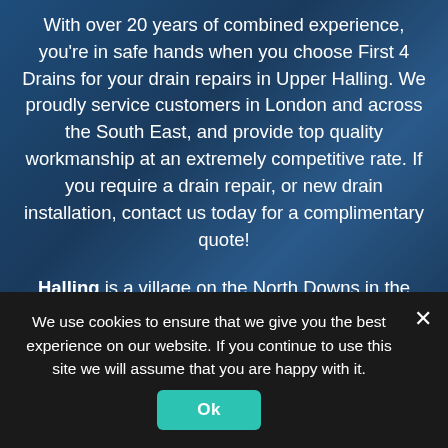With over 20 years of combined experience, you're in safe hands when you choose First 4 Drains for your drain repairs in Upper Halling. We proudly service customers in London and across the South East, and provide top quality workmanship at an extremely competitive rate. If you require a drain repair, or new drain installation, contact us today for a complimentary quote!
Halling is a village on the North Downs in the northern allocation of Kent, England. Consisting of Lower Halling, Upper Halling and North Halling, it is scattered on pinnacle of some 3 miles (5 km) along the River Medway parallel to the Pilgrims' Way which runs through Kent.
We use cookies to ensure that we give you the best experience on our website. If you continue to use this site we will assume that you are happy with it.